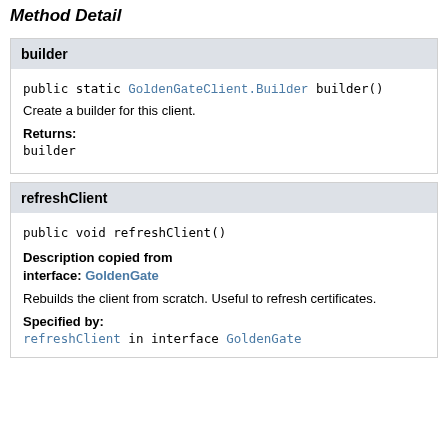Method Detail
builder
public static GoldenGateClient.Builder builder()
Create a builder for this client.
Returns:
builder
refreshClient
public void refreshClient()
Description copied from interface: GoldenGate
Rebuilds the client from scratch. Useful to refresh certificates.
Specified by:
refreshClient in interface GoldenGate